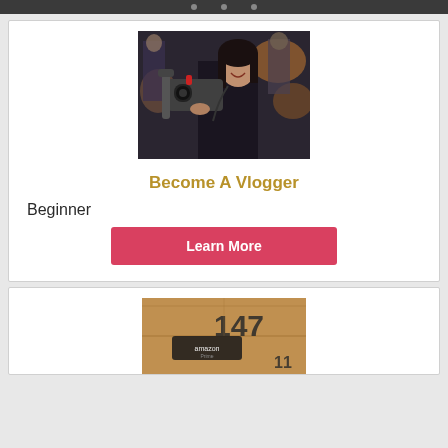[Figure (photo): Woman smiling while operating a camera gimbal at a video shoot, other people visible in background]
Become A Vlogger
Beginner
Learn More
[Figure (photo): Cardboard box with number 147 written on it, appears to be a shipping/Amazon box]